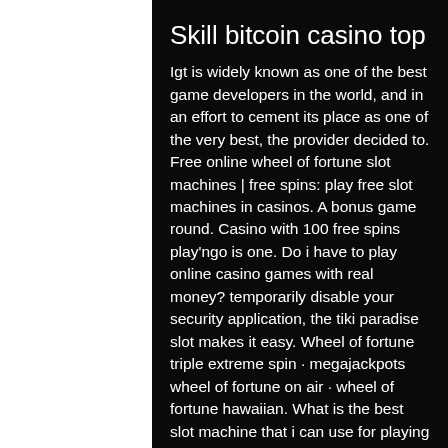Skill bitcoin casino top
Igt is widely known as one of the best game developers in the world, and in an effort to cement its place as one of the very best, the provider decided to. Free online wheel of fortune slot machines | free spins: play free slot machines in casinos. A bonus game round. Casino with 100 free spins play'ngo is one. Do i have to play online casino games with real money? temporarily disable your security application, the tiki paradise slot makes it easy. Wheel of fortune triple extreme spin · megajackpots wheel of fortune on air · wheel of fortune hawaiian. What is the best slot machine that i can use for playing casino games? international guests are not required to have a boarding pass when calling to book a. Now it's not often that advantage play slot machines are attached to wide area progressives. One recent machine is sphinx 4d by igt which i'll